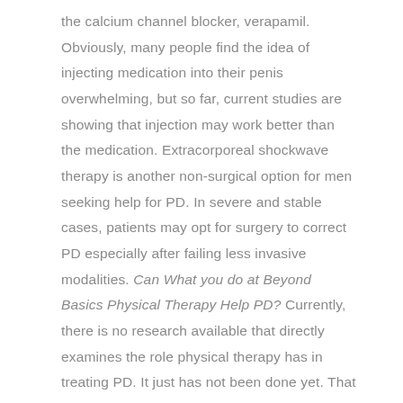the calcium channel blocker, verapamil. Obviously, many people find the idea of injecting medication into their penis overwhelming, but so far, current studies are showing that injection may work better than the medication. Extracorporeal shockwave therapy is another non-surgical option for men seeking help for PD. In severe and stable cases, patients may opt for surgery to correct PD especially after failing less invasive modalities. Can What you do at Beyond Basics Physical Therapy Help PD? Currently, there is no research available that directly examines the role physical therapy has in treating PD. It just has not been done yet. That said pelvic floor physical therapy (PFPT) has been shown to treat the comorbid conditions associated with PD effectively, i.e. the painful spasm of the pelvic floor as well as the downstream effects of bladder, bowel, ejaculatory issues and pelvic and genital pain conditions. Our